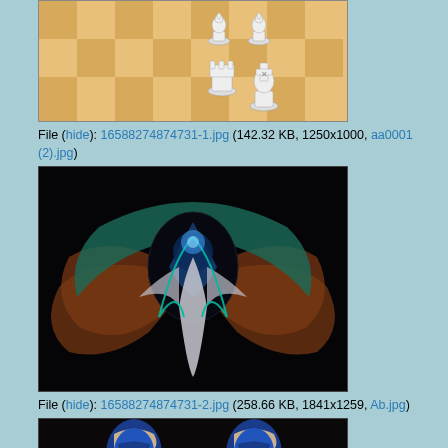[Figure (illustration): Chess board with chess pieces (kings, rooks) on a checkered tan/brown board, bottom portion visible]
File (hide): 16588274874731-1.jpg (142.32 KB, 1250x1000, aa0001 (2).jpg)
[Figure (illustration): Dark fantasy digital artwork of a winged demon/angel character with blue-green accents on black background with orange/brown wings]
File (hide): 16588274874731-2.jpg (258.66 KB, 1841x1259, Ab.jpg)
[Figure (illustration): Blue masked/helmeted character figures on dark background, partial view at bottom of page]